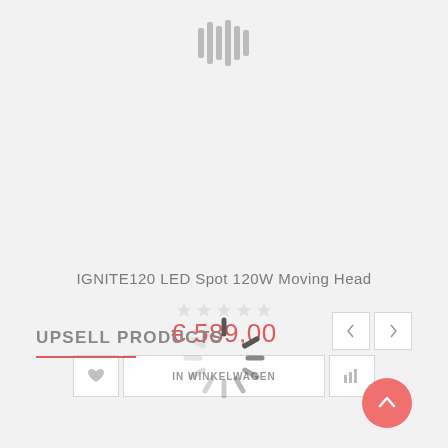[Figure (illustration): Barcode/audio waveform icon at top center, gray vertical bars of varying heights]
IGNITE120 LED Spot 120W Moving Head
[Figure (illustration): Five star rating icons, all empty/gray]
€ 589,00
[Figure (illustration): Loading spinner overlay (circular spokes) centered over the add-to-cart area]
[Figure (illustration): Add to cart button row with heart icon, IN WINKELWAGEN button, and bar chart/compare icon]
UPSELL PRODUCTS
[Figure (illustration): Navigation arrows left and right for upsell carousel]
[Figure (illustration): Scroll-to-top button, pink circle with up arrow, bottom right]